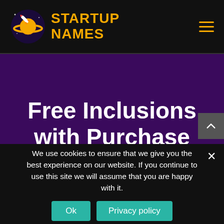STARTUP NAMES
Free Inclusions with Purchase
We use cookies to ensure that we give you the best experience on our website. If you continue to use this site we will assume that you are happy with it.